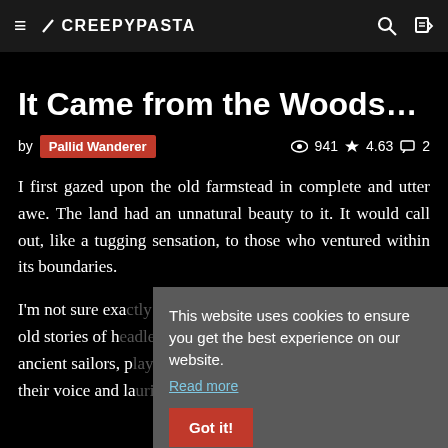CREEPYPASTA
It Came from the Woods…
by Pallid Wanderer  👁 941 ★ 4.63 💬 2
I first gazed upon the old farmstead in complete and utter awe. The land had an unnatural beauty to it. It would call out, like a tugging sensation, to those who ventured within its boundaries.
I'm not sure exa… old stories of h… ancient sailors, p… their voice and la…
No, this place wa…
This website uses cookies to ensure you get the best experience on our website. Read more Got it!